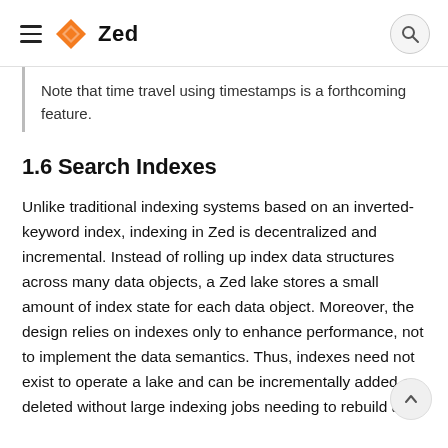Zed
Note that time travel using timestamps is a forthcoming feature.
1.6 Search Indexes
Unlike traditional indexing systems based on an inverted-keyword index, indexing in Zed is decentralized and incremental. Instead of rolling up index data structures across many data objects, a Zed lake stores a small amount of index state for each data object. Moreover, the design relies on indexes only to enhance performance, not to implement the data semantics. Thus, indexes need not exist to operate a lake and can be incrementally added or deleted without large indexing jobs needing to rebuild a monolithic index after each configuration change.